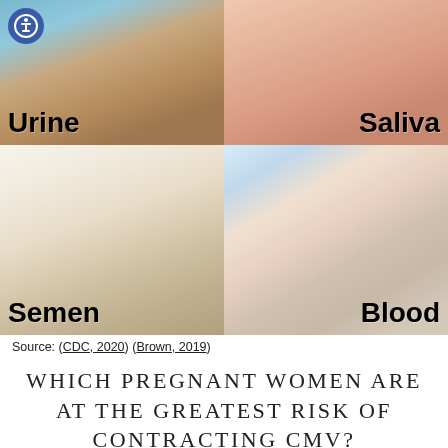[Figure (infographic): Four-panel infographic showing body fluids that can transmit CMV: Urine (top-left, child with toy), Saliva (top-right, close-up of face/neck), Semen (bottom-left, feet under sheets), Blood (bottom-right, woman tending to child's arm). Each panel has a bold black label. An accessibility icon badge appears in the top-left corner.]
Source: (CDC, 2020) (Brown, 2019)
WHICH PREGNANT WOMEN ARE AT THE GREATEST RISK OF CONTRACTING CMV?